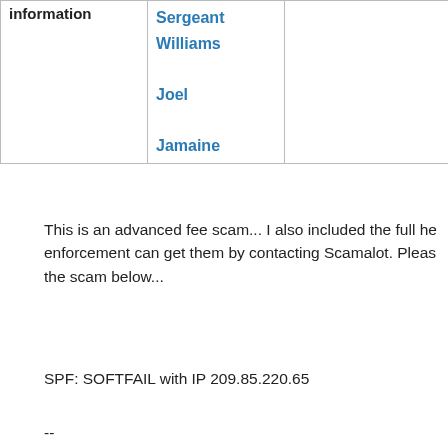| information | Sergeant Williams Joel Jamaine |  |  |
| --- | --- | --- | --- |
This is an advanced fee scam... I also included the full he enforcement can get them by contacting Scamalot. Pleas the scam below...
SPF: SOFTFAIL with IP 209.85.220.65
--
Hello Dear,
My names is staff sergeant Williams Joel Jamaine (U.S. A Afghanistan, promoted to the rank of staff sergeant as of 2017, Can you assist me receive Two Trunk Boxes contai of
Dollars?